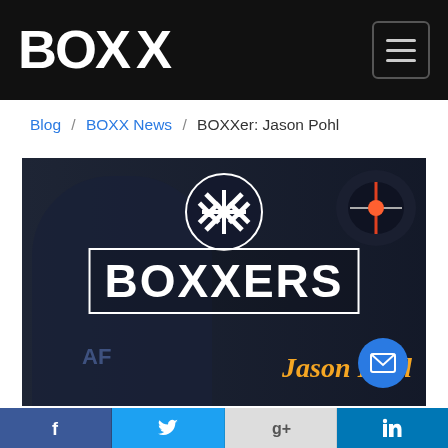BOXX
Blog / BOXX News / BOXXer: Jason Pohl
[Figure (photo): Video thumbnail showing a man in a blue shirt with the BOXXERS logo overlaid and the name 'Jason Pohl' in orange script, with a BOXX circular logo at top]
Social sharing bar: Facebook, Twitter, Google+, LinkedIn